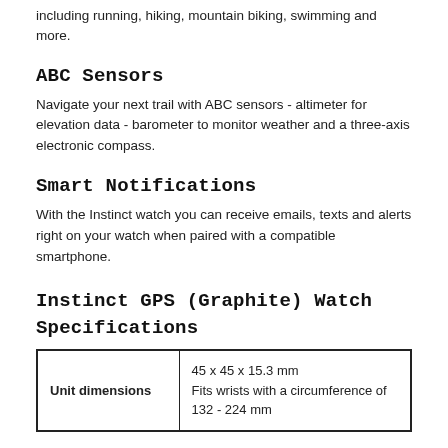including running, hiking, mountain biking, swimming and more.
ABC Sensors
Navigate your next trail with ABC sensors - altimeter for elevation data - barometer to monitor weather and a three-axis electronic compass.
Smart Notifications
With the Instinct watch you can receive emails, texts and alerts right on your watch when paired with a compatible smartphone.
Instinct GPS (Graphite) Watch Specifications
| Unit dimensions | 45 x 45 x 15.3 mm
Fits wrists with a circumference of 132 - 224 mm |